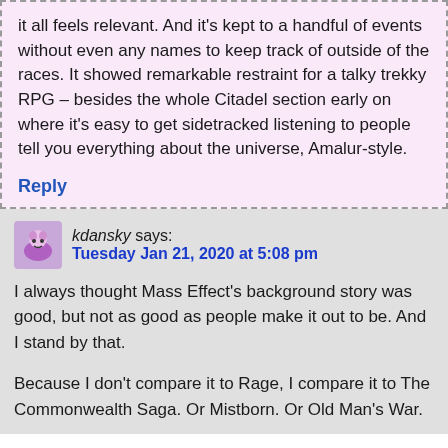it all feels relevant. And it's kept to a handful of events without even any names to keep track of outside of the races. It showed remarkable restraint for a talky trekky RPG – besides the whole Citadel section early on where it's easy to get sidetracked listening to people tell you everything about the universe, Amalur-style.
Reply
kdansky says: Tuesday Jan 21, 2020 at 5:08 pm
I always thought Mass Effect's background story was good, but not as good as people make it out to be. And I stand by that.
Because I don't compare it to Rage, I compare it to The Commonwealth Saga. Or Mistborn. Or Old Man's War.